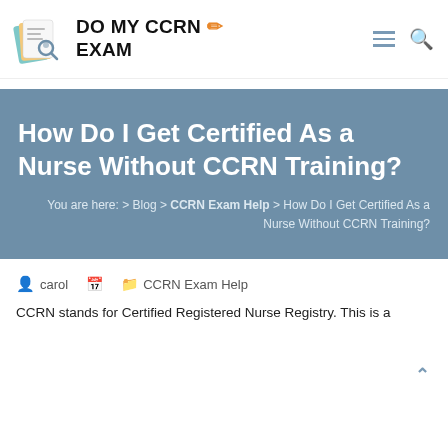DO MY CCRN EXAM
How Do I Get Certified As a Nurse Without CCRN Training?
You are here: > Blog > CCRN Exam Help > How Do I Get Certified As a Nurse Without CCRN Training?
carol   CCRN Exam Help
CCRN stands for Certified Registered Nurse Registry. This is a